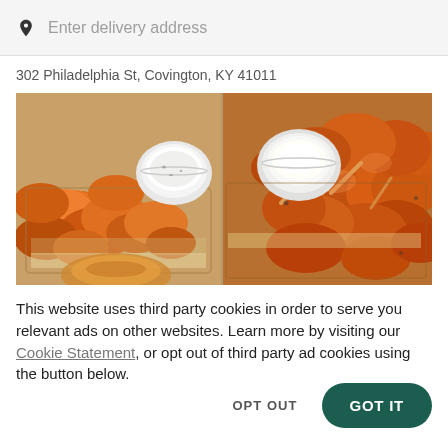Enter delivery address
302 Philadelphia St, Covington, KY 41011
[Figure (photo): Two side-by-side photos of chicken wings: boneless wings with ranch dipping sauce on the left, bone-in glazed wings with white dipping sauce on the right, served on trays.]
This website uses third party cookies in order to serve you relevant ads on other websites. Learn more by visiting our Cookie Statement, or opt out of third party ad cookies using the button below.
OPT OUT
GOT IT